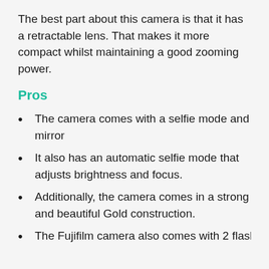The best part about this camera is that it has a retractable lens. That makes it more compact whilst maintaining a good zooming power.
Pros
The camera comes with a selfie mode and mirror
It also has an automatic selfie mode that adjusts brightness and focus.
Additionally, the camera comes in a strong and beautiful Gold construction.
The Fujifilm camera also comes with 2 flash